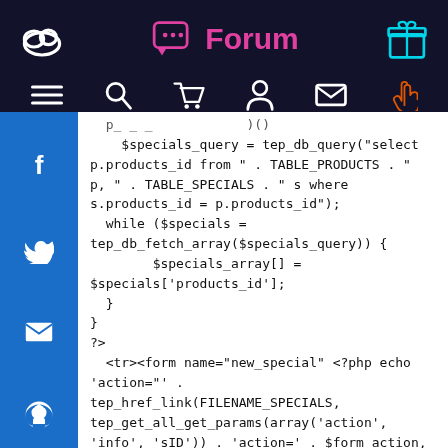Forum
[Figure (screenshot): Navigation bar with forum logo, search, cart, user, message, and hand icons on dark background]
f (Facebook), Twitter, email, GitHub social share sidebar
$specials_query = tep_db_query("select p.products_id from " . TABLE_PRODUCTS . " p, " . TABLE_SPECIALS . " s where s.products_id = p.products_id");
  while ($specials = tep_db_fetch_array($specials_query)) {
        $specials_array[] = $specials['products_id'];
    }
}
?>
  <tr><form name="new_special" <?php echo
'action="' .
tep_href_link(FILENAME_SPECIALS,
tep_get_all_get_params(array('action',
'info', 'sID')) . 'action=' . $form_action,
'NONSSL') . '"' . $custom_attr . ' onsubmit="'